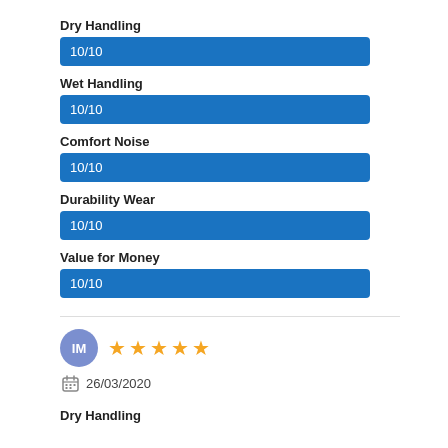Dry Handling
[Figure (infographic): Blue progress bar showing score 10/10 for Dry Handling]
Wet Handling
[Figure (infographic): Blue progress bar showing score 10/10 for Wet Handling]
Comfort Noise
[Figure (infographic): Blue progress bar showing score 10/10 for Comfort Noise]
Durability Wear
[Figure (infographic): Blue progress bar showing score 10/10 for Durability Wear]
Value for Money
[Figure (infographic): Blue progress bar showing score 10/10 for Value for Money]
IM — 5 stars — 26/03/2020
Dry Handling